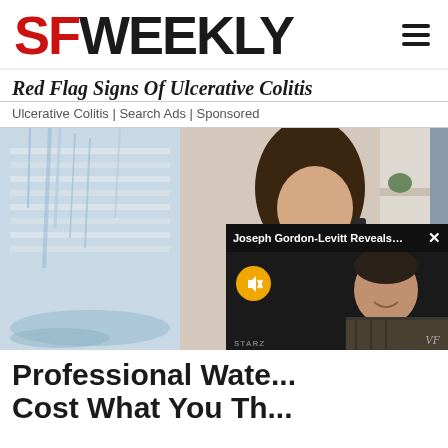SFWEEKLY
Red Flag Signs Of Ulcerative Colitis
Ulcerative Colitis | Search Ads | Sponsored
[Figure (photo): Woman on phone looking up at water leaking through ceiling in a home, with a video overlay popup showing Joseph Gordon-Levitt smiling, with title 'Joseph Gordon-Levitt Reveals The S...' and mute button, STARZ and VF logos visible]
Professional Wate... Cost What You Th...